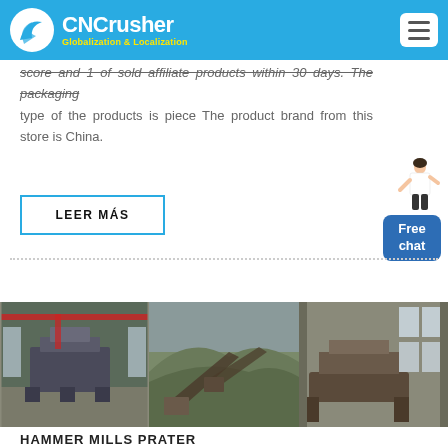CNCrusher Globalization & Localization
score and 1 of sold affiliate products within 30 days. The packaging type of the products is piece The product brand from this store is China.
LEER MÁS
[Figure (photo): Three industrial photos showing: 1) A large crusher/mill machine in a factory building with red crane overhead, 2) An outdoor quarry/crushing plant with conveyor belts on a hillside, 3) Industrial equipment/machinery parts in a warehouse]
HAMMER MILLS PRATER